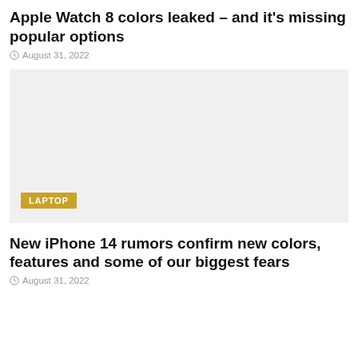Apple Watch 8 colors leaked – and it's missing popular options
August 31, 2022
[Figure (photo): Light gray placeholder image with a LAPTOP badge overlay in gold/yellow color at the bottom left]
New iPhone 14 rumors confirm new colors, features and some of our biggest fears
August 31, 2022